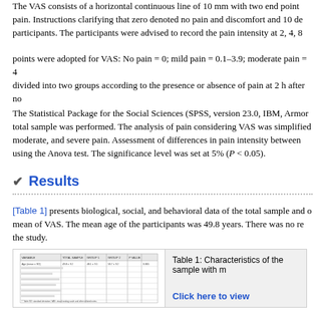The VAS consists of a horizontal continuous line of 10 mm with two end points of pain. Instructions clarifying that zero denoted no pain and discomfort and 10 denoted the worst pain were given to the participants. The participants were advised to record the pain intensity at 2, 4, 8... points were adopted for VAS: No pain = 0; mild pain = 0.1–3.9; moderate pain = 4... divided into two groups according to the presence or absence of pain at 2 h after no...
The Statistical Package for the Social Sciences (SPSS, version 23.0, IBM, Armon... total sample was performed. The analysis of pain considering VAS was simplified... moderate, and severe pain. Assessment of differences in pain intensity between... using the Anova test. The significance level was set at 5% (P < 0.05).
Results
[Table 1] presents biological, social, and behavioral data of the total sample and o... mean of VAS. The mean age of the participants was 49.8 years. There was no re... the study.
[Figure (table-as-image): Thumbnail image of Table 1 showing characteristics of the sample with rows and columns of data]
Table 1: Characteristics of the sample with m...
The periodontal data of the total sample and of the groups in relation to the intensi... 2]. There was no difference in relation to the periodontal parameters evaluated...